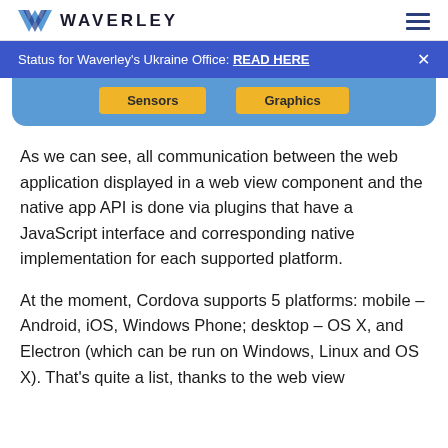WAVERLEY
Status for Waverley's Ukraine Office: READ HERE
[Figure (screenshot): Diagram strip showing two yellow buttons labeled 'Sensors' and 'Graphics' on a blue rounded background]
As we can see, all communication between the web application displayed in a web view component and the native app API is done via plugins that have a JavaScript interface and corresponding native implementation for each supported platform.
At the moment, Cordova supports 5 platforms: mobile – Android, iOS, Windows Phone; desktop – OS X, and Electron (which can be run on Windows, Linux and OS X). That's quite a list, thanks to the web view